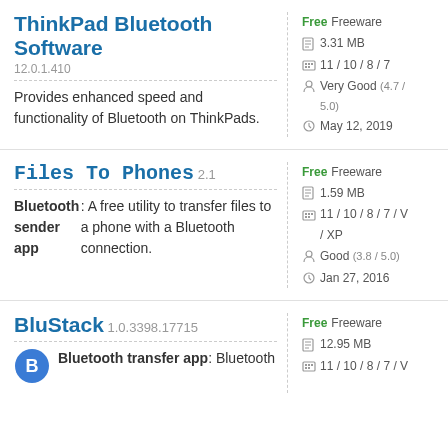ThinkPad Bluetooth Software
12.0.1.410
Provides enhanced speed and functionality of Bluetooth on ThinkPads.
Free  Freeware
3.31 MB
11 / 10 / 8 / 7
Very Good (4.7 / 5.0)
May 12, 2019
Files To Phones  2.1
Bluetooth sender app: A free utility to transfer files to a phone with a Bluetooth connection.
Free  Freeware
1.59 MB
11 / 10 / 8 / 7 / V / XP
Good (3.8 / 5.0)
Jan 27, 2016
BluStack  1.0.3398.17715
Free  Freeware
12.95 MB
11 / 10 / 8 / 7 / V
Bluetooth transfer app: Bluetooth